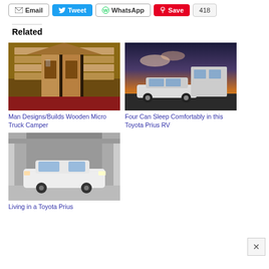Email | Tweet | WhatsApp | Save | 418
Related
[Figure (photo): Wooden micro truck camper with open doors showing interior]
Man Designs/Builds Wooden Micro Truck Camper
[Figure (photo): Toyota Prius with RV camper attachment at sunset]
Four Can Sleep Comfortably in this Toyota Prius RV
[Figure (photo): White Toyota Prius parked in a parking garage]
Living in a Toyota Prius